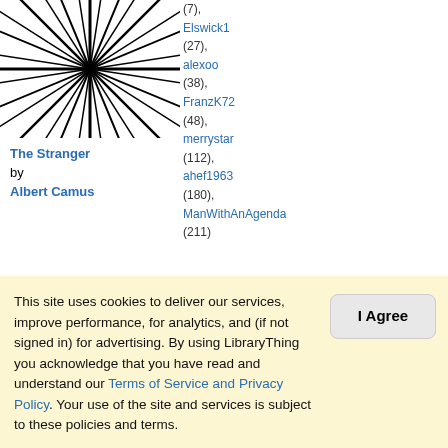[Figure (illustration): Book cover thumbnail with radial black and white starburst pattern, partially visible at top left]
(7),
Elswick1
(27),
alexoo
(38),
FranzK72
(48),
merrystar
(112),
ahef1963
(180),
ManWithAnAgenda
(211)
The Stranger by Albert Camus
32,238 members, 462 reviews
★★★★: 10.72
(3.95 stars)
72
Lists:
This site uses cookies to deliver our services, improve performance, for analytics, and (if not signed in) for advertising. By using LibraryThing you acknowledge that you have read and understand our Terms of Service and Privacy Policy. Your use of the site and services is subject to these policies and terms.